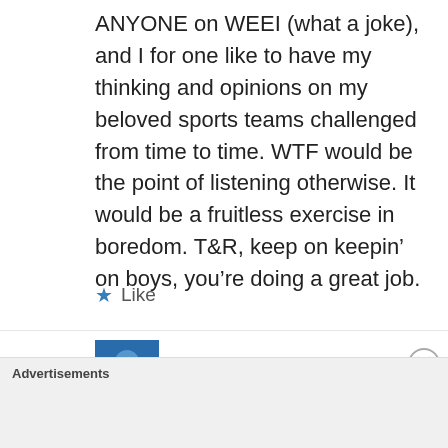ANYONE on WEEI (what a joke), and I for one like to have my thinking and opinions on my beloved sports teams challenged from time to time. WTF would be the point of listening otherwise. It would be a fruitless exercise in boredom. T&R, keep on keepin’ on boys, you’re doing a great job.
★ Like
DryHeave
Advertisements